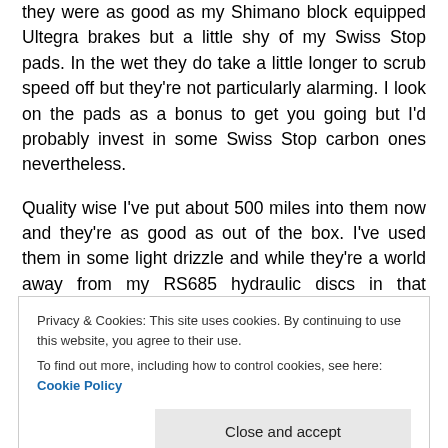they were as good as my Shimano block equipped Ultegra brakes but a little shy of my Swiss Stop pads. In the wet they do take a little longer to scrub speed off but they're not particularly alarming. I look on the pads as a bonus to get you going but I'd probably invest in some Swiss Stop carbon ones nevertheless.
Quality wise I've put about 500 miles into them now and they're as good as out of the box. I've used them in some light drizzle and while they're a world away from my RS685 hydraulic discs in that respect, they're not far off an alu clincher. Add some better pads and they'll be fine.
Privacy & Cookies: This site uses cookies. By continuing to use this website, you agree to their use.
To find out more, including how to control cookies, see here: Cookie Policy
comfort.  They were pretty close to the comfort of my alu